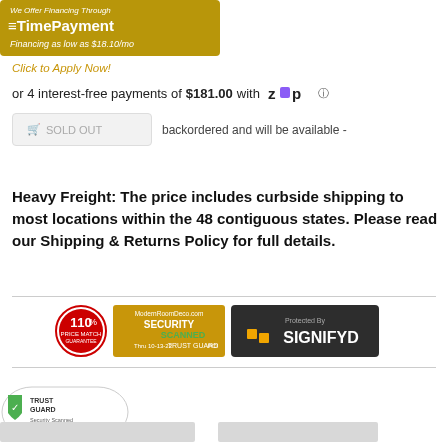[Figure (logo): TimePayment financing banner: gold background with 'We Offer Financing Through TimePayment' and 'Financing as low as $18.10/mo']
Click to Apply Now!
or 4 interest-free payments of $181.00 with Zip
SOLD OUT   backordered and will be available -
Heavy Freight: The price includes curbside shipping to most locations within the 48 contiguous states. Please read our Shipping & Returns Policy for full details.
[Figure (logo): 110% Price Match Guarantee badge, ModernRoomDeco.com Security Scanned Trust Guard PCI badge (Thru 10-13-22), and Protected By SIGNIFYD badge]
[Figure (logo): Trust Guard Security Scanned logo at bottom left]